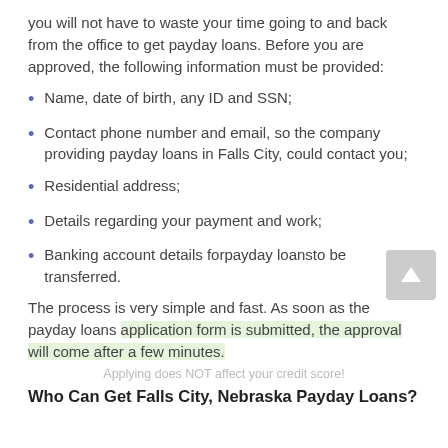you will not have to waste your time going to and back from the office to get payday loans. Before you are approved, the following information must be provided:
Name, date of birth, any ID and SSN;
Contact phone number and email, so the company providing payday loans in Falls City, could contact you;
Residential address;
Details regarding your payment and work;
Banking account details forpayday loansto be transferred.
The process is very simple and fast. As soon as the payday loans application form is submitted, the approval will come after a few minutes.
Applying does NOT affect your credit score!
Who Can Get Falls City, Nebraska Payday Loans?